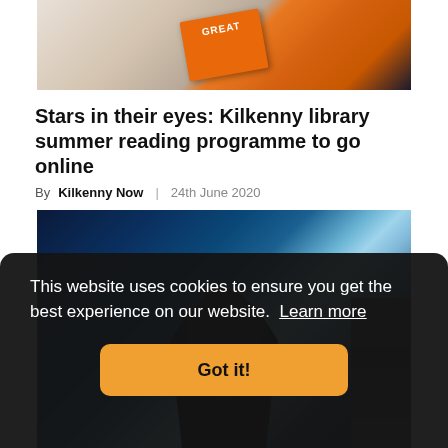[Figure (photo): Person holding an orange book with 'GREAT' text visible on cover]
Stars in their eyes: Kilkenny library summer reading programme to go online
By Kilkenny Now | 24th June 2020
[Figure (photo): Dark hooded cybercriminal figure with blue digital/cyber background and police officer on the right]
This website uses cookies to ensure you get the best experience on our website. Learn more
Got it!